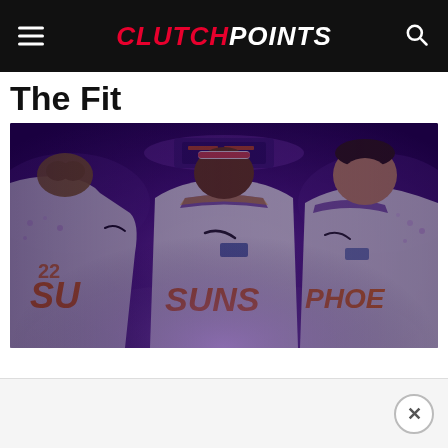ClutchPoints
The Fit
[Figure (photo): Three Phoenix Suns players (Deandre Ayton, Chris Paul, Devin Booker) in white Suns jerseys composited against a purple arena background]